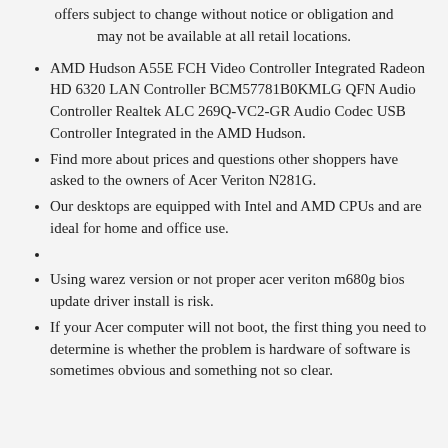offers subject to change without notice or obligation and may not be available at all retail locations.
AMD Hudson A55E FCH Video Controller Integrated Radeon HD 6320 LAN Controller BCM57781B0KMLG QFN Audio Controller Realtek ALC 269Q-VC2-GR Audio Codec USB Controller Integrated in the AMD Hudson.
Find more about prices and questions other shoppers have asked to the owners of Acer Veriton N281G.
Our desktops are equipped with Intel and AMD CPUs and are ideal for home and office use.
Using warez version or not proper acer veriton m680g bios update driver install is risk.
If your Acer computer will not boot, the first thing you need to determine is whether the problem is hardware of software is sometimes obvious and something not so clear.